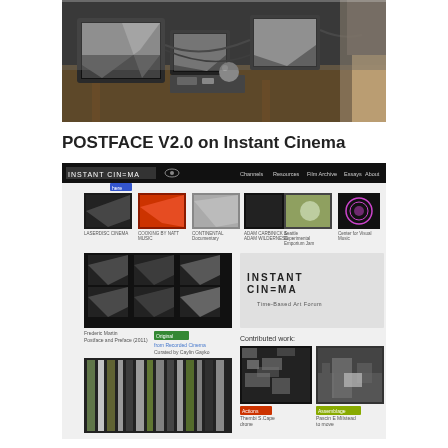[Figure (photo): Photo of multiple CRT/LCD monitors on a wooden table displaying black and white video, with cables and electronic equipment, person standing in background]
POSTFACE V2.0 on Instant Cinema
[Figure (screenshot): Screenshot of the Instant Cinema website showing a dark navigation bar with menu items (Channels, Resources, Film Archive, Essays, About, FAQ, Search), thumbnail images of films/videos, logos, and contributed work section with thumbnails and colored labels]